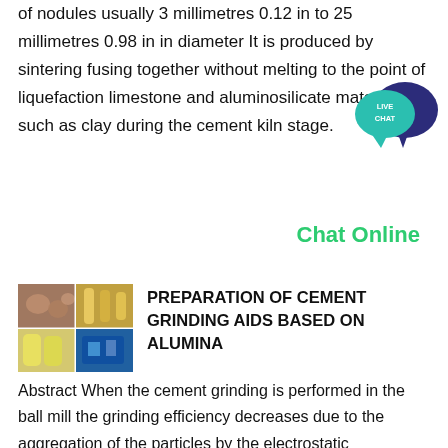of nodules usually 3 millimetres 0.12 in to 25 millimetres 0.98 in in diameter It is produced by sintering fusing together without melting to the point of liquefaction limestone and aluminosilicate materials such as clay during the cement kiln stage.
[Figure (other): Live Chat speech bubble icon with teal/dark blue colors and white text 'LIVE CHAT']
Chat Online
[Figure (photo): Mosaic of industrial/cement grinding related photos showing equipment and materials]
PREPARATION OF CEMENT GRINDING AIDS BASED ON ALUMINA
Abstract When the cement grinding is performed in the ball mill the grinding efficiency decreases due to the aggregation of the particles by the electrostatic phenomenon Therefore a lot of techniques